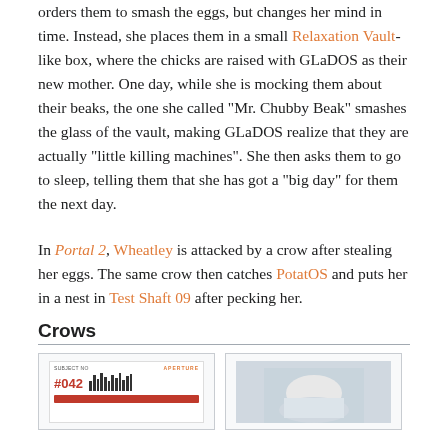orders them to smash the eggs, but changes her mind in time. Instead, she places them in a small Relaxation Vault-like box, where the chicks are raised with GLaDOS as their new mother. One day, while she is mocking them about their beaks, the one she called "Mr. Chubby Beak" smashes the glass of the vault, making GLaDOS realize that they are actually "little killing machines". She then asks them to go to sleep, telling them that she has got a "big day" for them the next day.
In Portal 2, Wheatley is attacked by a crow after stealing her eggs. The same crow then catches PotatOS and puts her in a nest in Test Shaft 09 after pecking her.
Crows
[Figure (photo): Two images side by side showing Portal-related content. Left image shows an Aperture Science subject card for Subject #042 with a barcode. Right image shows what appears to be a bird/crow related photo.]